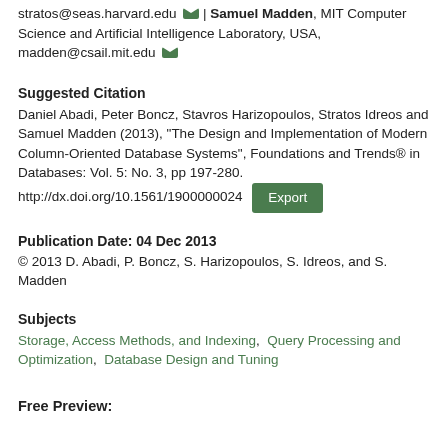stratos@seas.harvard.edu [icon] | Samuel Madden, MIT Computer Science and Artificial Intelligence Laboratory, USA, madden@csail.mit.edu [icon]
Suggested Citation
Daniel Abadi, Peter Boncz, Stavros Harizopoulos, Stratos Idreos and Samuel Madden (2013), "The Design and Implementation of Modern Column-Oriented Database Systems", Foundations and Trends® in Databases: Vol. 5: No. 3, pp 197-280. http://dx.doi.org/10.1561/1900000024 [Export button]
Publication Date: 04 Dec 2013
© 2013 D. Abadi, P. Boncz, S. Harizopoulos, S. Idreos, and S. Madden
Subjects
Storage, Access Methods, and Indexing,  Query Processing and Optimization,  Database Design and Tuning
Free Preview: